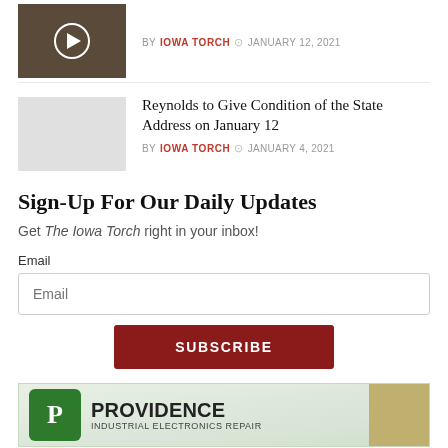[Figure (photo): Dark thumbnail image with a play button circle overlay, partially visible at top]
BY IOWA TORCH  JANUARY 12, 2021
Reynolds to Give Condition of the State Address on January 12
[Figure (photo): Light gray thumbnail image placeholder]
BY IOWA TORCH  JANUARY 4, 2021
Sign-Up For Our Daily Updates
Get The Iowa Torch right in your inbox!
Email
[Figure (screenshot): Email input field with placeholder text Email and a red SUBSCRIBE button below]
[Figure (logo): Providence Industrial Electronics Repair advertisement banner with green P logo]